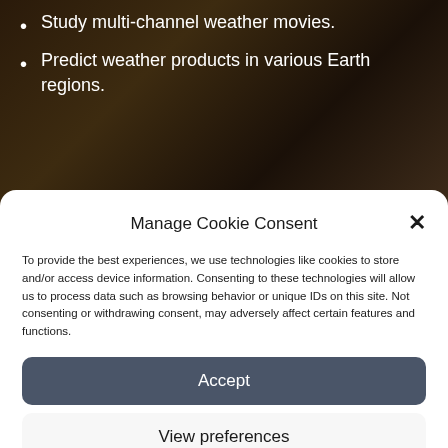Study multi-channel weather movies.
Predict weather products in various Earth regions.
Manage Cookie Consent
To provide the best experiences, we use technologies like cookies to store and/or access device information. Consenting to these technologies will allow us to process data such as browsing behavior or unique IDs on this site. Not consenting or withdrawing consent, may adversely affect certain features and functions.
Accept
View preferences
Cookie Policy  Privacy Statement  Impressum